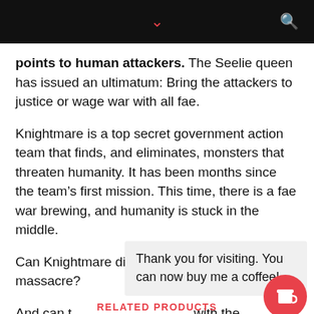points to human attackers. The Seelie queen has issued an ultimatum: Bring the attackers to justice or wage war with all fae.
Knightmare is a top secret government action team that finds, and eliminates, monsters that threaten humanity. It has been months since the team’s first mission. This time, there is a fae war brewing, and humanity is stuck in the middle.
Can Knightmare discover who perpetrated the massacre?
And can t… with the fae?
Thank you for visiting. You can now buy me a coffee!
RELATED PRODUCTS